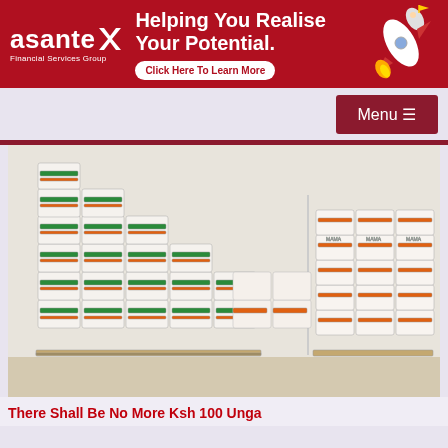[Figure (other): Asante Financial Services Group banner advertisement with red background, logo, rocket graphic, headline 'Helping You Realise Your Potential.' and a 'Click Here To Learn More' button.]
[Figure (other): Navigation bar with dark red Menu button with hamburger icon on right side.]
[Figure (photo): Stacks of flour bags (Unga brand) piled high on shelves in a supermarket/warehouse.]
There Shall Be No More Ksh 100 Unga